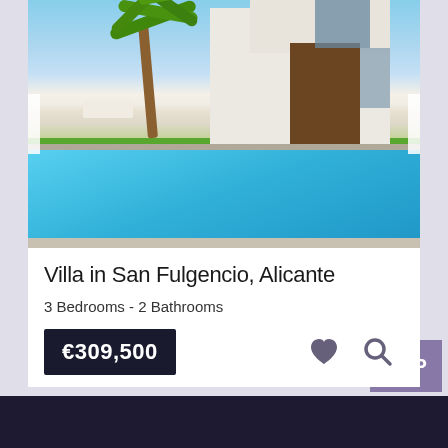[Figure (photo): Exterior photo of a modern white villa with flat roof, wood-paneled front door, large glass sliding doors, palm tree, green lawn, and a rectangular swimming pool in the foreground, blue sky background.]
Villa in San Fulgencio, Alicante
3 Bedrooms - 2 Bathrooms
€309,500